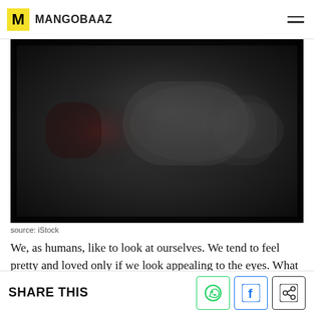MANGOBAAZ
[Figure (photo): Dark, moody image of a textured dark wall or surface with faint reddish tones, resembling a weathered concrete or stone surface in dim lighting. Source: iStock.]
source: iStock
We, as humans, like to look at ourselves. We tend to feel pretty and loved only if we look appealing to the eyes. What if you're not the only one looking at yourself? What if someone else is looking at you through the
SHARE THIS